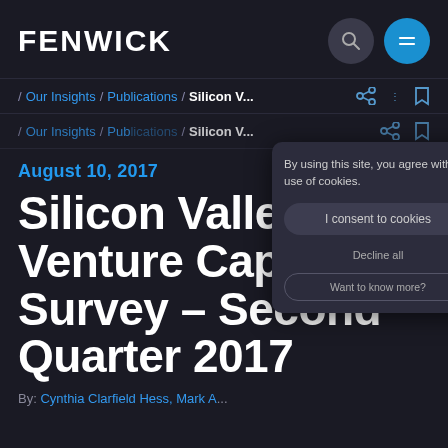FENWICK
/ Our Insights / Publications / Silicon V...
By using this site, you agree with our use of cookies.
I consent to cookies
Decline all
Want to know more?
/ Our Insights / Publications / Silicon V...
August 10, 2017
Silicon Valley Venture Capital Survey – Second Quarter 2017
By: Cynthia Clarfield Hess, Mark Leahy, Khare Tien...